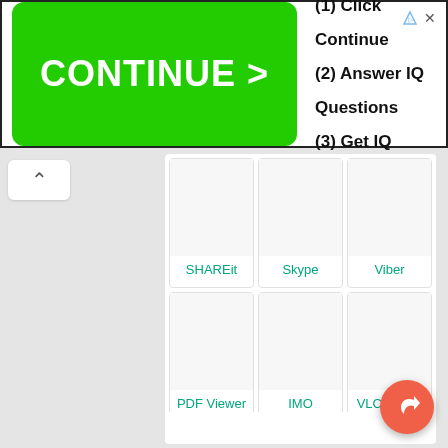[Figure (screenshot): Advertisement banner with green CONTINUE > button and text: (1) Click Continue, (2) Answer IQ Questions, (3) Get IQ]
[Figure (screenshot): App grid showing 6 app cards: SHAREit, Skype, Viber, PDF Viewer, IMO, VLC Player with teal/green labels]
[Figure (screenshot): White content area below app grid, empty placeholder]